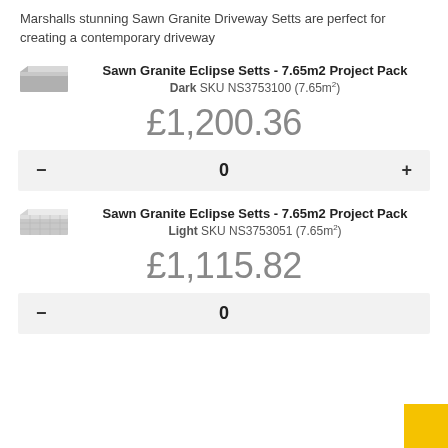Marshalls stunning Sawn Granite Driveway Setts are perfect for creating a contemporary driveway
Sawn Granite Eclipse Setts - 7.65m2 Project Pack Dark SKU NS3753100 (7.65m²)
£1,200.36
- 0 +
Sawn Granite Eclipse Setts - 7.65m2 Project Pack Light SKU NS3753051 (7.65m²)
£1,115.82
- 0 +